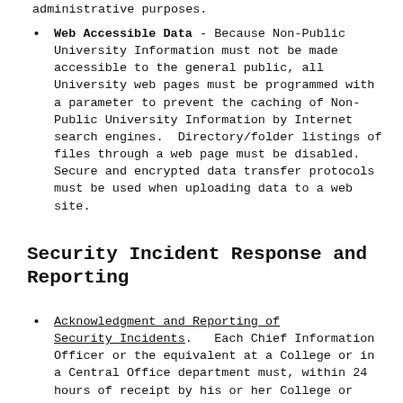administrative purposes.
Web Accessible Data - Because Non-Public University Information must not be made accessible to the general public, all University web pages must be programmed with a parameter to prevent the caching of Non-Public University Information by Internet search engines.  Directory/folder listings of files through a web page must be disabled. Secure and encrypted data transfer protocols must be used when uploading data to a web site.
Security Incident Response and Reporting
Acknowledgment and Reporting of Security Incidents.  Each Chief Information Officer or the equivalent at a College or in a Central Office department must, within 24 hours of receipt by his or her College or department, acknowledge